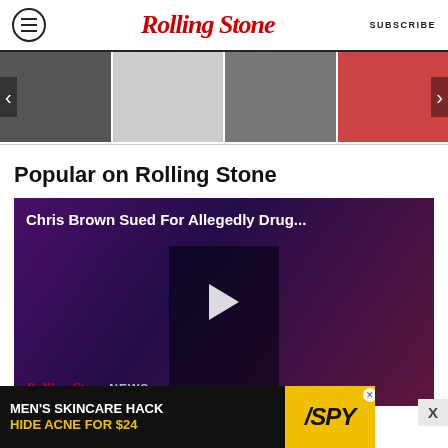Rolling Stone | SUBSCRIBE
[Figure (photo): Horizontal strip of four thumbnail images in a carousel slider with left and right navigation arrows]
[Figure (screenshot): Video thumbnail for 'Chris Brown Sued For Allegedly Drug...' with Rolling Stone NEWS branding at bottom left and a play button in the center]
Popular on Rolling Stone
[Figure (photo): Advertisement banner: MEN'S SKINCARE HACK / HIDE ACNE FOR $24 with SPY logo]